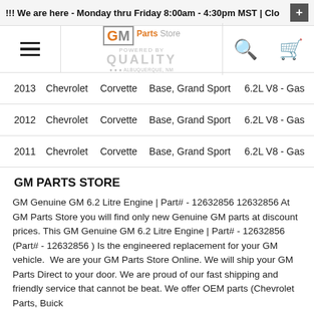!!! We are here - Monday thru Friday 8:00am - 4:30pm MST | Clos
[Figure (logo): GM Parts Store logo powered by Quality, Albuquerque NM]
| 2013 | Chevrolet | Corvette | Base, Grand Sport | 6.2L V8 - Gas |
| 2012 | Chevrolet | Corvette | Base, Grand Sport | 6.2L V8 - Gas |
| 2011 | Chevrolet | Corvette | Base, Grand Sport | 6.2L V8 - Gas |
GM PARTS STORE
GM Genuine GM 6.2 Litre Engine | Part# - 12632856 12632856 At GM Parts Store you will find only new Genuine GM parts at discount prices. This GM Genuine GM 6.2 Litre Engine | Part# - 12632856 (Part# - 12632856 ) Is the engineered replacement for your GM vehicle.  We are your GM Parts Store Online. We will ship your GM Parts Direct to your door. We are proud of our fast shipping and friendly service that cannot be beat. We offer OEM parts (Chevrolet Parts, Buick